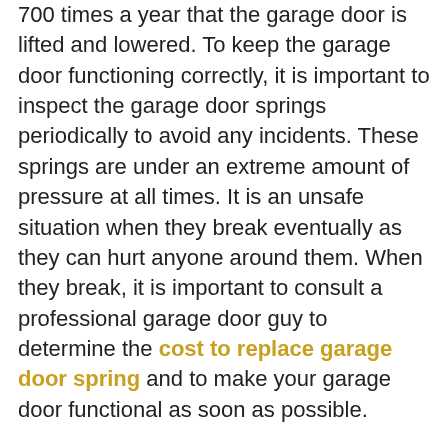700 times a year that the garage door is lifted and lowered. To keep the garage door functioning correctly, it is important to inspect the garage door springs periodically to avoid any incidents. These springs are under an extreme amount of pressure at all times. It is an unsafe situation when they break eventually as they can hurt anyone around them. When they break, it is important to consult a professional garage door guy to determine the cost to replace garage door spring and to make your garage door functional as soon as possible.
There are two basic types of garage door springs. They knew as torsion and extension garage door springs. Both are challenging and risky to replace and need to be correctly understood before undergoing any work. Each type of spring functions uniquely and needs different support to make sure that the garage door opens and closes efficiently and effortlessly.